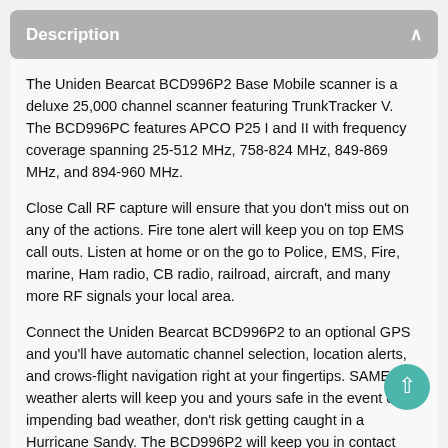Description
The Uniden Bearcat BCD996P2 Base Mobile scanner is a deluxe 25,000 channel scanner featuring TrunkTracker V. The BCD996PC features APCO P25 I and II with frequency coverage spanning 25-512 MHz, 758-824 MHz, 849-869 MHz, and 894-960 MHz.
Close Call RF capture will ensure that you don't miss out on any of the actions. Fire tone alert will keep you on top EMS call outs. Listen at home or on the go to Police, EMS, Fire, marine, Ham radio, CB radio, railroad, aircraft, and many more RF signals your local area.
Connect the Uniden Bearcat BCD996P2 to an optional GPS and you'll have automatic channel selection, location alerts, and crows-flight navigation right at your fingertips. SAME weather alerts will keep you and yours safe in the event of impending bad weather, don't risk getting caught in a Hurricane Sandy. The BCD996P2 will keep you in contact with all of the local news, weather, and emergency information for your region.
The Uniden Bearcat BCD996P2 comes complete with the hardware to mount this deluxe radio scanner in your vehicle for on